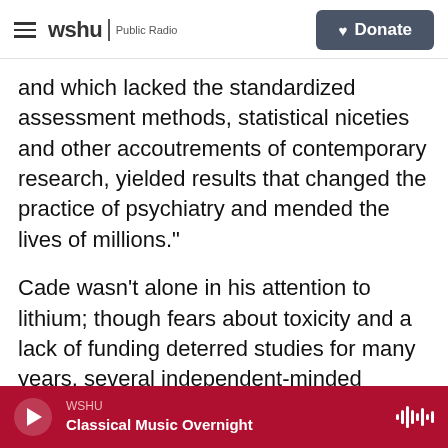wshu | Public Radio  [Donate button]
and which lacked the standardized assessment methods, statistical niceties and other accoutrements of contemporary research, yielded results that changed the practice of psychiatry and mended the lives of millions."
Cade wasn't alone in his attention to lithium; though fears about toxicity and a lack of funding deterred studies for many years, several independent-minded researchers around the world investigated the drug's effectiveness in treating bipolar disorder and regular depression. But among the scientists he discusses, Brown is most passionately drawn to
WSHU / Classical Music Overnight